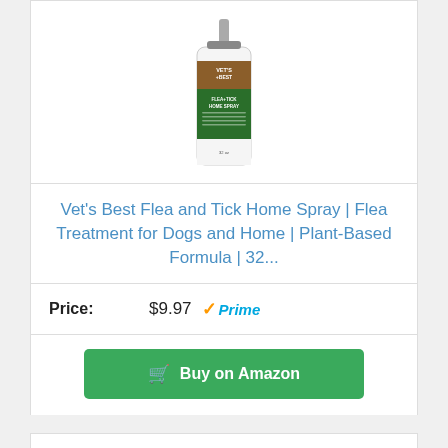[Figure (photo): Vet's Best Flea + Tick Home Spray bottle product image]
Vet's Best Flea and Tick Home Spray | Flea Treatment for Dogs and Home | Plant-Based Formula | 32...
Price: $9.97 Prime
Buy on Amazon
Bestseller No. 8
[Figure (photo): Green shampoo bottle product image (partially visible)]